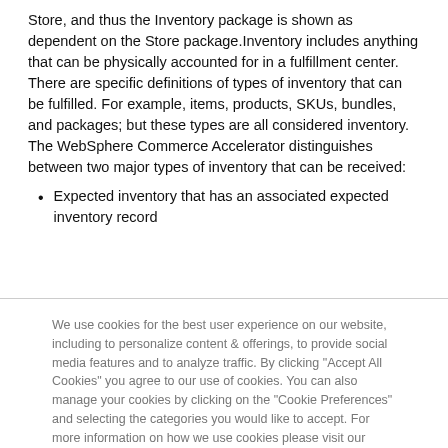Store, and thus the Inventory package is shown as dependent on the Store package. Inventory includes anything that can be physically accounted for in a fulfillment center. There are specific definitions of types of inventory that can be fulfilled. For example, items, products, SKUs, bundles, and packages; but these types are all considered inventory. The WebSphere Commerce Accelerator distinguishes between two major types of inventory that can be received:
Expected inventory that has an associated expected inventory record
We use cookies for the best user experience on our website, including to personalize content & offerings, to provide social media features and to analyze traffic. By clicking "Accept All Cookies" you agree to our use of cookies. You can also manage your cookies by clicking on the "Cookie Preferences" and selecting the categories you would like to accept. For more information on how we use cookies please visit our Cookie Statement and Privacy Statement